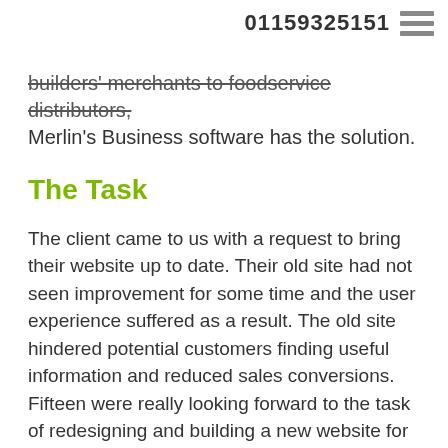01159325151
builders' merchants to foodservice distributors, Merlin's Business software has the solution.
The Task
The client came to us with a request to bring their website up to date. Their old site had not seen improvement for some time and the user experience suffered as a result. The old site hindered potential customers finding useful information and reduced sales conversions. Fifteen were really looking forward to the task of redesigning and building a new website for Merlin Business Software.